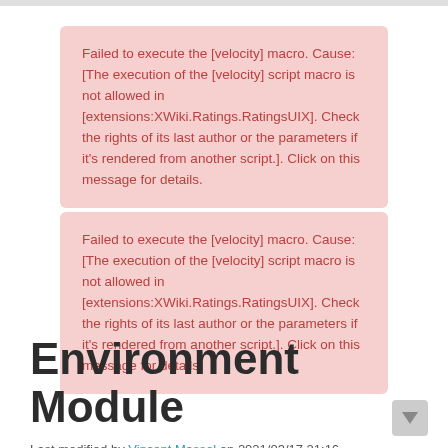Failed to execute the [velocity] macro. Cause: [The execution of the [velocity] script macro is not allowed in [extensions:XWiki.Ratings.RatingsUIX]. Check the rights of its last author or the parameters if it's rendered from another script.]. Click on this message for details.
Failed to execute the [velocity] macro. Cause: [The execution of the [velocity] script macro is not allowed in [extensions:XWiki.Ratings.RatingsUIX]. Check the rights of its last author or the parameters if it's rendered from another script.]. Click on this message for details.
Environment Module
Last modified by Vincent Massol on 2021/03/17 21:16